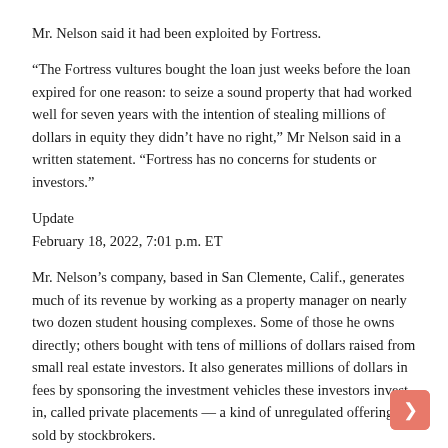Mr. Nelson said it had been exploited by Fortress.
“The Fortress vultures bought the loan just weeks before the loan expired for one reason: to seize a sound property that had worked well for seven years with the intention of stealing millions of dollars in equity they didn’t have no right,” Mr Nelson said in a written statement. “Fortress has no concerns for students or investors.”
Update
February 18, 2022, 7:01 p.m. ET
Mr. Nelson’s company, based in San Clemente, Calif., generates much of its revenue by working as a property manager on nearly two dozen student housing complexes. Some of those he owns directly; others bought with tens of millions of dollars raised from small real estate investors. It also generates millions of dollars in fees by sponsoring the investment vehicles these investors invest in, called private placements — a kind of unregulated offering sold by stockbrokers.